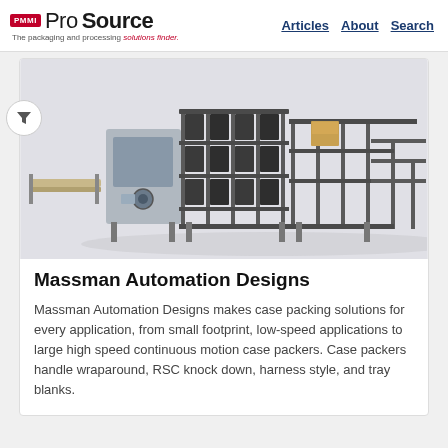PMMI ProSource — The packaging and processing solutions finder. Articles | About | Search
[Figure (photo): Industrial case packing machine system with metal frame and conveyor components, photographed against a white/light gray background.]
Massman Automation Designs
Massman Automation Designs makes case packing solutions for every application, from small footprint, low-speed applications to large high speed continuous motion case packers. Case packers handle wraparound, RSC knock down, harness style, and tray blanks.